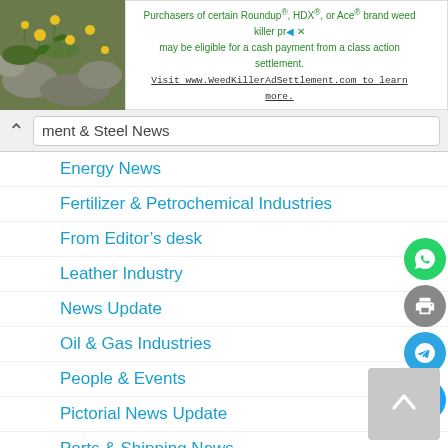[Figure (photo): Advertisement banner: green/nature background photo on left, text on right about Roundup/HDX/Ace brand weed killer class action settlement, directing to WeedKillerAdSettlement.com]
ment & Steel News
Energy News
Fertilizer & Petrochemical Industries
From Editor's desk
Leather Industry
News Update
Oil & Gas Industries
People & Events
Pictorial News Update
Ports & Shipping News
PSX
Telecommunication & Automobile News
Textile Industry